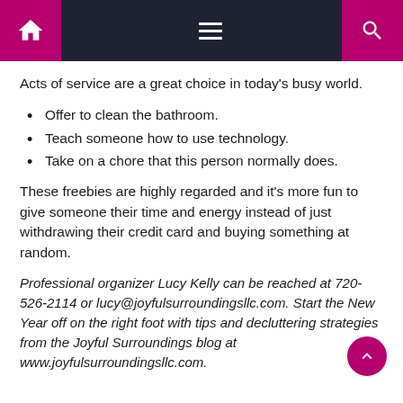Navigation bar with home, menu, and search icons
Acts of service are a great choice in today’s busy world.
Offer to clean the bathroom.
Teach someone how to use technology.
Take on a chore that this person normally does.
These freebies are highly regarded and it’s more fun to give someone their time and energy instead of just withdrawing their credit card and buying something at random.
Professional organizer Lucy Kelly can be reached at 720-526-2114 or lucy@joyfulsurroundingsllc.com. Start the New Year off on the right foot with tips and decluttering strategies from the Joyful Surroundings blog at www.joyfulsurroundingsllc.com.